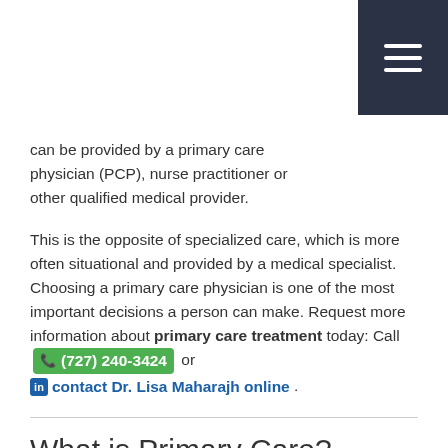can be provided by a primary care physician (PCP), nurse practitioner or other qualified medical provider.
This is the opposite of specialized care, which is more often situational and provided by a medical specialist. Choosing a primary care physician is one of the most important decisions a person can make. Request more information about primary care treatment today: Call (727) 240-3424 or contact Dr. Lisa Maharajh online .
What is Primary Care?
Primary care is the day-to-day medical treatment a patient receives. Primary care is typically delivered through a doctor's office or a similar setting. This type of treatment encompasses nearly every health issue. If a particular symptom or problem is considered severe, the primary care provider will contact a specialist for further assistance.